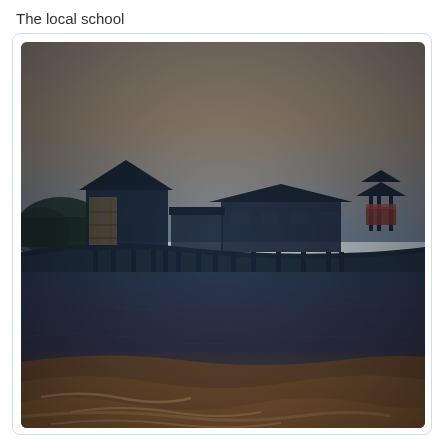The local school
[Figure (photo): A photograph of stilt houses/school buildings raised on wooden stilts above a riverbank, viewed from the water. The scene shows several structures with dark rooflines silhouetted against a warm sunset sky. The foreground shows a river with brown-tinted water and small waves. The image has a vintage, filtered look with blue-teal tones in the upper portion and warm brown tones in the lower portion.]